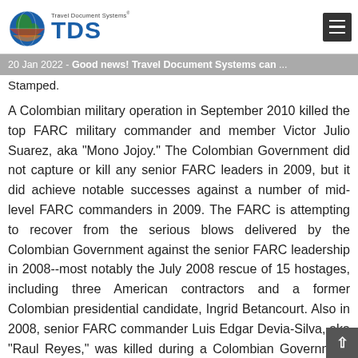Travel Document Systems TDS
20 Jan 2022 - Good news! Travel Document Systems can ...
Stamped.
A Colombian military operation in September 2010 killed the top FARC military commander and member Victor Julio Suarez, aka “Mono Jojoy.” The Colombian Government did not capture or kill any senior FARC leaders in 2009, but it did achieve notable successes against a number of mid-level FARC commanders in 2009. The FARC is attempting to recover from the serious blows delivered by the Colombian Government against the senior FARC leadership in 2008--most notably the July 2008 rescue of 15 hostages, including three American contractors and a former Colombian presidential candidate, Ingrid Betancourt. Also in 2008, senior FARC commander Luis Edgar Devia-Silva, aka “Raul Reyes,” was killed during a Colombian Government operation; FARC Commander Manuel Munoz-Ortiz, aka “Ivan Rios,” was killed at the hands of his own chief of security; and FARC founding member Manuel Marulanda-Velez, aka “Tirofijo,” died